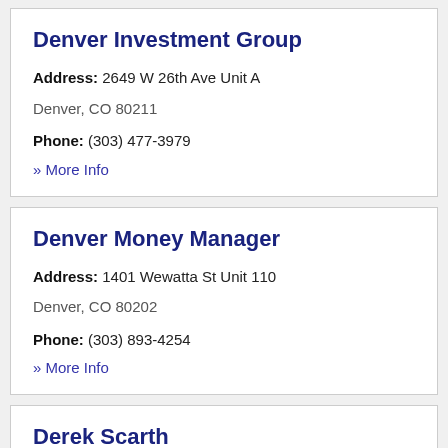Denver Investment Group
Address: 2649 W 26th Ave Unit A
Denver, CO 80211
Phone: (303) 477-3979
» More Info
Denver Money Manager
Address: 1401 Wewatta St Unit 110
Denver, CO 80202
Phone: (303) 893-4254
» More Info
Derek Scarth
Address: 55 Madison St Suite 755